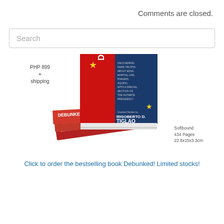Comments are closed.
Search
[Figure (photo): Stack of books titled 'Debunked' by Rigoberto D. Tiglao, with red and blue cover. Price label PHP 899 + shipping shown to the left.]
Softbound
434 Pages
22.8x15x3.3cm
Click to order the bestselling book Debunked! Limited stocks!